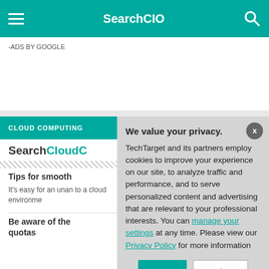SearchCIO
-ADS BY GOOGLE
CLOUD COMPUTING
SearchCloudC
Tips for smooth
It's easy for an unan to a cloud environme
Be aware of the quotas
We value your privacy. TechTarget and its partners employ cookies to improve your experience on our site, to analyze traffic and performance, and to serve personalized content and advertising that are relevant to your professional interests. You can manage your settings at any time. Please view our Privacy Policy for more information